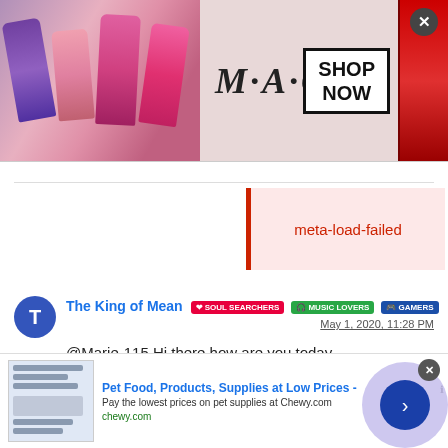[Figure (photo): MAC cosmetics advertisement banner showing colorful lipsticks on left and right, MAC logo in center, SHOP NOW box on right]
meta-load-failed
The King of Mean  SOUL SEARCHERS  MUSIC LOVERS  GAMERS
May 1, 2020, 11:28 PM
@Marie-115 Hi there how are you today
1 Reply >   0
[Figure (screenshot): Chewy pet food advertisement: Pet Food, Products, Supplies at Low Prices - Pay the lowest prices on pet supplies at Chewy.com, chewy.com]